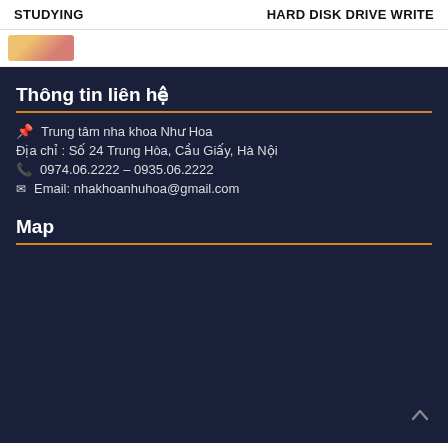STUDYING | HARD DISK DRIVE WRITE
Thông tin liên hệ
Trung tâm nha khoa Như Hoa
Địa chỉ : Số 24 Trung Hòa, Cầu Giấy, Hà Nội
0974.06.2222 – 0935.06.2222
Email: nhakhoanhuhoa@gmail.com
Map
[Figure (map): Empty map placeholder area on dark navy background]